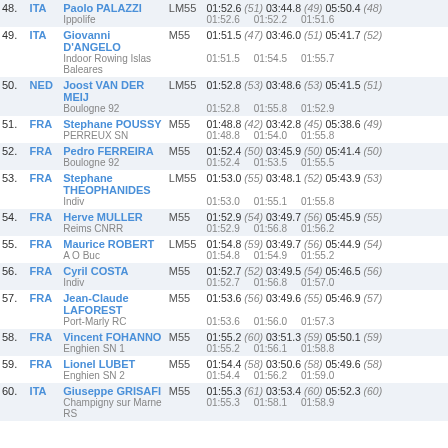| Rank | Country | Name | Cat | Split1 | Split2 | Split3 |
| --- | --- | --- | --- | --- | --- | --- |
| 48. | ITA | Paolo PALAZZI | LM55 | 01:52.6 (51) | 03:44.8 (49) | 05:50.4 (48) |
|  |  | Ippolife |  | 01:52.6 | 01:52.2 | 01:51.6 |
| 49. | ITA | Giovanni D'ANGELO | M55 | 01:51.5 (47) | 03:46.0 (51) | 05:41.7 (52) |
|  |  | Indoor Rowing Islas Baleares |  | 01:51.5 | 01:54.5 | 01:55.7 |
| 50. | NED | Joost VAN DER MEIJ | LM55 | 01:52.8 (53) | 03:48.6 (53) | 05:41.5 (51) |
|  |  | Boulogne 92 |  | 01:52.8 | 01:55.8 | 01:52.9 |
| 51. | FRA | Stephane POUSSY | M55 | 01:48.8 (42) | 03:42.8 (45) | 05:38.6 (49) |
|  |  | PERREUX SN |  | 01:48.8 | 01:54.0 | 01:55.8 |
| 52. | FRA | Pedro FERREIRA | M55 | 01:52.4 (50) | 03:45.9 (50) | 05:41.4 (50) |
|  |  | Boulogne 92 |  | 01:52.4 | 01:53.5 | 01:55.5 |
| 53. | FRA | Stephane THEOPHANIDES | LM55 | 01:53.0 (55) | 03:48.1 (52) | 05:43.9 (53) |
|  |  | Indiv |  | 01:53.0 | 01:55.1 | 01:55.8 |
| 54. | FRA | Herve MULLER | M55 | 01:52.9 (54) | 03:49.7 (56) | 05:45.9 (55) |
|  |  | Reims CNRR |  | 01:52.9 | 01:56.8 | 01:56.2 |
| 55. | FRA | Maurice ROBERT | LM55 | 01:54.8 (59) | 03:49.7 (56) | 05:44.9 (54) |
|  |  | A O Buc |  | 01:54.8 | 01:54.9 | 01:55.2 |
| 56. | FRA | Cyril COSTA | M55 | 01:52.7 (52) | 03:49.5 (54) | 05:46.5 (56) |
|  |  | Indiv |  | 01:52.7 | 01:56.8 | 01:57.0 |
| 57. | FRA | Jean-Claude LAFOREST | M55 | 01:53.6 (56) | 03:49.6 (55) | 05:46.9 (57) |
|  |  | Port-Marly RC |  | 01:53.6 | 01:56.0 | 01:57.3 |
| 58. | FRA | Vincent FOHANNO | M55 | 01:55.2 (60) | 03:51.3 (59) | 05:50.1 (59) |
|  |  | Enghien SN 1 |  | 01:55.2 | 01:56.1 | 01:58.8 |
| 59. | FRA | Lionel LUBET | M55 | 01:54.4 (58) | 03:50.6 (58) | 05:49.6 (58) |
|  |  | Enghien SN 2 |  | 01:54.4 | 01:56.2 | 01:59.0 |
| 60. | ITA | Giuseppe GRISAFI | M55 | 01:55.3 (61) | 03:53.4 (60) | 05:52.3 (60) |
|  |  | Champigny sur Marne RS |  | 01:55.3 | 01:58.1 | 01:58.9 |